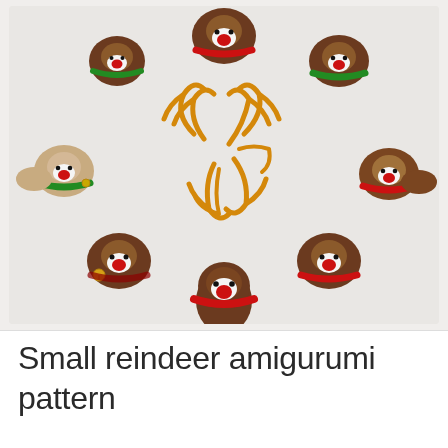[Figure (photo): A circular arrangement of seven small crocheted amigurumi reindeer figures on a white/light grey surface. The reindeer have brown bodies, white and red noses, black bead eyes, and wear red or green scarves/collars. They are arranged in a circle with their bodies pointing outward and their heads toward the center, with golden/orange crocheted antlers visible in the middle of the circle.]
Small reindeer amigurumi pattern